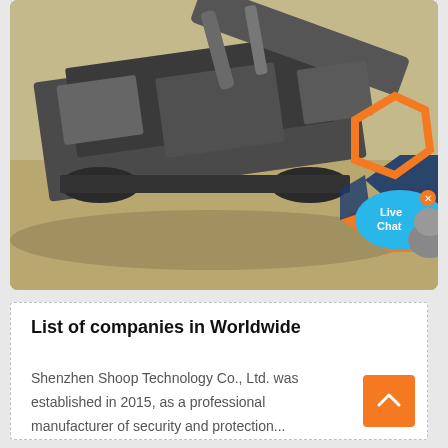[Figure (photo): Industrial heavy machinery / rock crusher equipment photographed from above on sandy terrain, with a company logo overlay (orange hexagon shape with blue/dark elements) and a 'Live Chat' bubble with an animal mascot in the lower right corner of the image]
List of companies in Worldwide
Shenzhen Shoop Technology Co., Ltd. was established in 2015, as a professional manufacturer of security and protection...